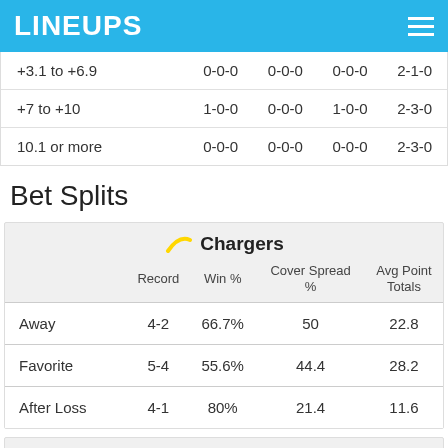LINEUPS
|  |  |  |  |  |
| --- | --- | --- | --- | --- |
| +3.1 to +6.9 | 0-0-0 | 0-0-0 | 0-0-0 | 2-1-0 |
| +7 to +10 | 1-0-0 | 0-0-0 | 1-0-0 | 2-3-0 |
| 10.1 or more | 0-0-0 | 0-0-0 | 0-0-0 | 2-3-0 |
Bet Splits
|  | Record | Win % | Cover Spread % | Avg Point Totals |
| --- | --- | --- | --- | --- |
| Away | 4-2 | 66.7% | 50 | 22.8 |
| Favorite | 5-4 | 55.6% | 44.4 | 28.2 |
| After Loss | 4-1 | 80% | 21.4 | 11.6 |
Texans